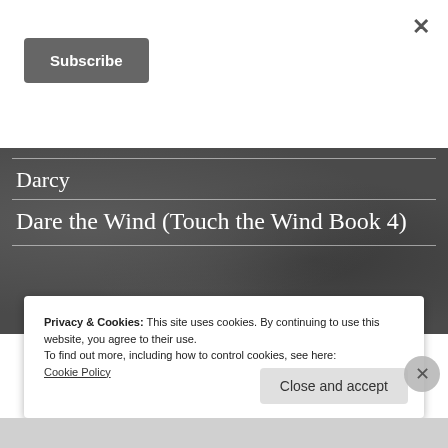[Figure (screenshot): Subscribe button on white background]
Darcy
Dare the Wind (Touch the Wind Book 4)
Privacy & Cookies: This site uses cookies. By continuing to use this website, you agree to their use.
To find out more, including how to control cookies, see here:
Cookie Policy
Close and accept